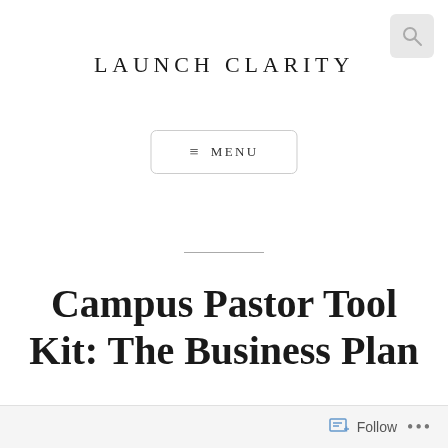LAUNCH CLARITY
≡ MENU
Campus Pastor Tool Kit: The Business Plan
Follow ...